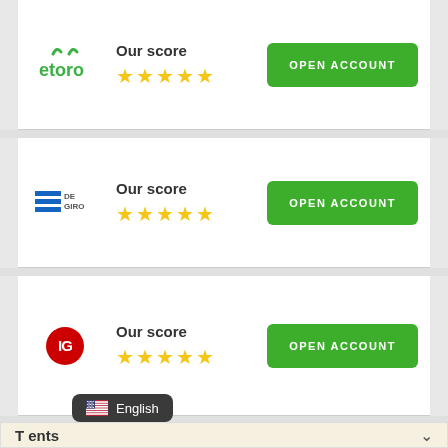[Figure (logo): eToro logo in green with horns icon]
Our score ★★★★★
OPEN ACCOUNT
[Figure (logo): DeGiro logo with blue horizontal stripes]
Our score ★★★★★
OPEN ACCOUNT
[Figure (logo): IG logo red circle with white IG text]
Our score ★★★★★
OPEN ACCOUNT
[Figure (illustration): Language selector pill showing English with US flag]
T...ents